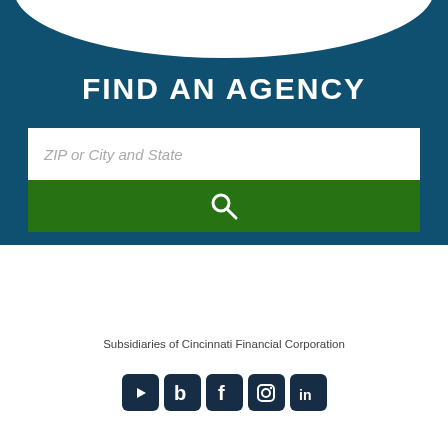[Figure (screenshot): Teal banner with arch cutout at top showing white curve, containing FIND AN AGENCY title and search box with green search button]
FIND AN AGENCY
ZIP or City and State
Subsidiaries of Cincinnati Financial Corporation
[Figure (other): Row of 5 social media icons: YouTube, Blab, Facebook, Instagram, LinkedIn — dark navy rounded square icons]